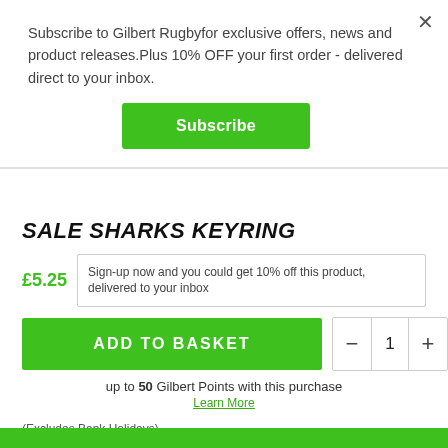Subscribe to Gilbert Rugbyfor exclusive offers, news and product releases.Plus 10% OFF your first order - delivered direct to your inbox.
Subscribe
SALE SHARKS KEYRING
£5.25
Sign-up now and you could get 10% off this product, delivered to your inbox
ADD TO BASKET
up to 50 Gilbert Points with this purchase
Learn More
(Excludes Bank Holidays)